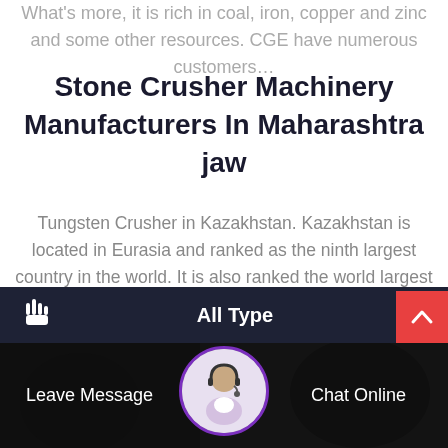What's more, it is rich in coal, iron, copper and zinc and some other resources. CGE have numerous customers…
Stone Crusher Machinery Manufacturers In Maharashtra jaw
Tungsten Crusher in Kazakhstan. Kazakhstan is located in Eurasia and ranked as the ninth largest country in the world. It is also ranked the world largest landlocked country. What's more, it is rich in coal, iron, copper and zinc and some other resources. CGE have numerous customers…
All Type
Leave Message
Chat Online